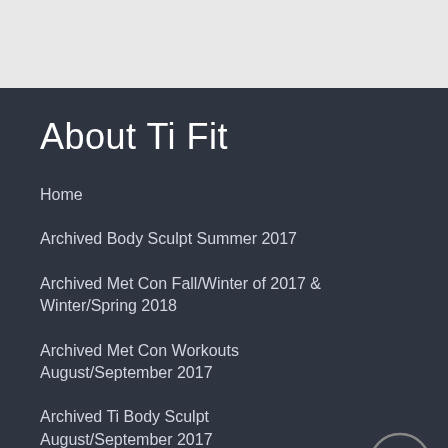About Ti Fit
Home
Archived Body Sculpt Summer 2017
Archived Met Con Fall/Winter of 2017 & Winter/Spring 2018
Archived Met Con Workouts August/September 2017
Archived Ti Body Sculpt August/September 2017
Archived Ti-Beginner